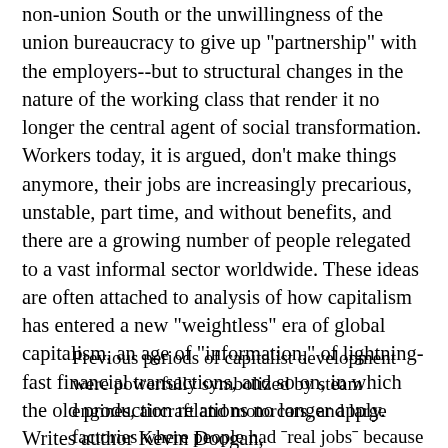non-union South or the unwillingness of the union bureaucracy to give up "partnership" with the employers--but to structural changes in the nature of the working class that render it no longer the central agent of social transformation. Workers today, it is argued, don't make things anymore, their jobs are increasingly precarious, unstable, part time, and without benefits, and there are a growing number of people relegated to a vast informal sector worldwide. These ideas are often attached to analysis of how capitalism has entered a new "weightless" era of global capitalism, an age of "information," of lightning-fast financial transactions, and so on, in which the old production relations no longer apply. Writes author Kevin Doogan,
Previous periods of capitalist development were powerfully symbolized by steam engines, aircraft and motorcars, and large factories where people had "real jobs" because "they made things." The new capitalist Zeitgeist is captured